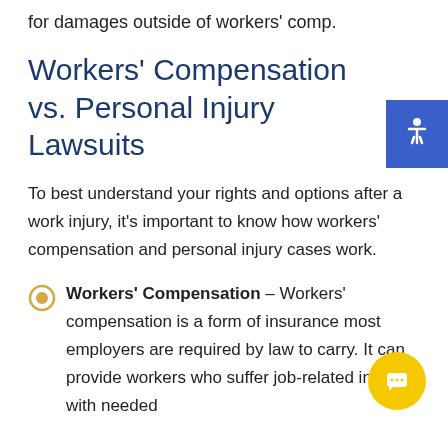for damages outside of workers' comp.
Workers' Compensation vs. Personal Injury Lawsuits
To best understand your rights and options after a work injury, it's important to know how workers' compensation and personal injury cases work.
Workers' Compensation – Workers' compensation is a form of insurance most employers are required by law to carry. It can provide workers who suffer job-related injuries with needed